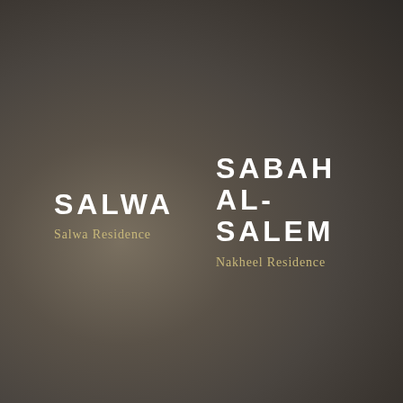SALWA
Salwa Residence
SABAH AL-SALEM
Nakheel Residence